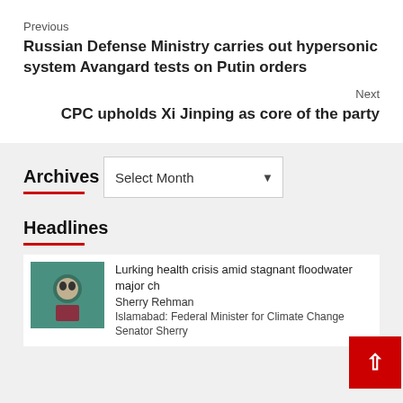Previous
Russian Defense Ministry carries out hypersonic system Avangard tests on Putin orders
Next
CPC upholds Xi Jinping as core of the party
Archives
Headlines
Lurking health crisis amid stagnant floodwater major ch...
Sherry Rehman
Islamabad: Federal Minister for Climate Change Senator Sherry